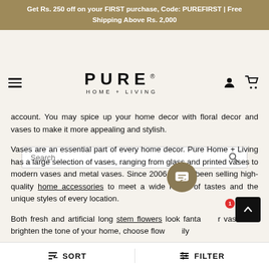Get Rs. 250 off on your FIRST purchase, Code: PUREFIRST | Free Shipping Above Rs. 2,000
[Figure (logo): PURE HOME + LIVING logo with hamburger menu, user icon and cart icon]
Search
account. You may spice up your home decor with floral decor and vases to make it more appealing and stylish.
Vases are an essential part of every home decor. Pure Home + Living has a large selection of vases, ranging from glass and printed vases to modern vases and metal vases. Since 2006, we ve been selling high-quality home accessories to meet a wide range of tastes and the unique styles of every location.
Both fresh and artificial long stem flowers look fanta r vases. To brighten the tone of your home, choose flow ily
SORT   FILTER